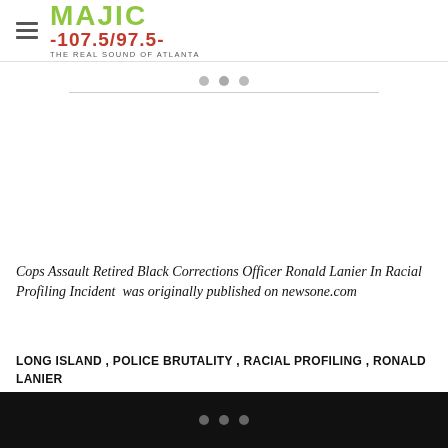MAJIC 107.5/97.5 THE REAL SOUND OF ATLANTA
Cops Assault Retired Black Corrections Officer Ronald Lanier In Racial Profiling Incident was originally published on newsone.com
LONG ISLAND , POLICE BRUTALITY , RACIAL PROFILING , RONALD LANIER